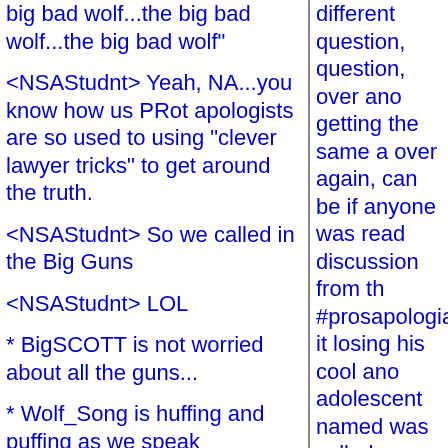big bad wolf...the big bad wolf...the big bad wolf"
<NSAStudnt> Yeah, NA...you know how us PRot apologists are so used to using "clever lawyer tricks" to get around the truth.
<NSAStudnt> So we called in the Big Guns
<NSAStudnt> LOL
* BigSCOTT is not worried about all the guns...
* Wolf_Song is huffing and puffing as we speak
* BigSCOTT is wearing the Body-armor of Christ!
<BigSCOTT> :)
<Wolf_Song> Neither am I big, but it is confusing
different question, question, over and getting the same a over again, can be if anyone was read discussion from th #prosapologian, it losing his cool ano adolescent named was called a "twit" other things).  No proven you can't h of us at a time.